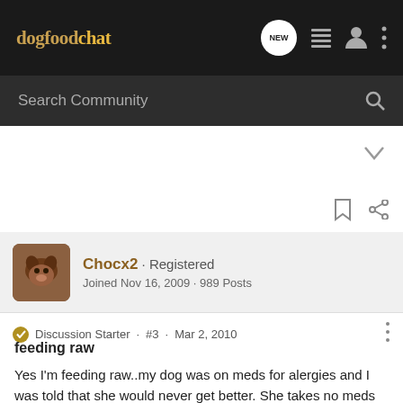dogfoodchat
Search Community
Chocx2 · Registered
Joined Nov 16, 2009 · 989 Posts
Discussion Starter · #3 · Mar 2, 2010
feeding raw
Yes I'm feeding raw..my dog was on meds for alergies and I was told that she would never get better. She takes no meds